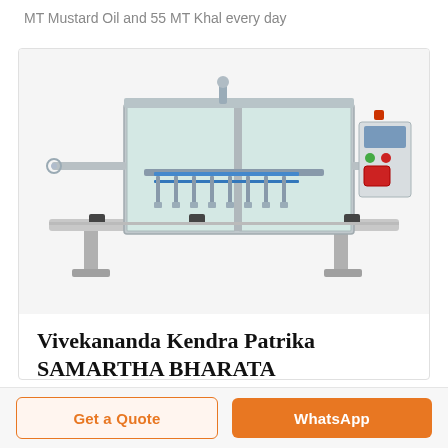MT Mustard Oil and 55 MT Khal every day
[Figure (photo): Industrial automatic liquid filling machine with stainless steel body, multiple filling nozzles, conveyor belt, and control panel with buttons and display screen.]
Vivekananda Kendra Patrika
SAMARTHA BHARATA
Get a Quote
WhatsApp